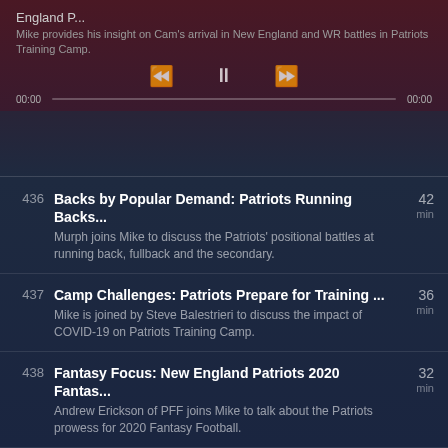England P...
Mike provides his insight on Cam's arrival in New England and WR battles in Patriots Training Camp.
00:00  00:00
436 | Backs by Popular Demand: Patriots Running Backs... | 42 min | Murph joins Mike to discuss the Patriots' positional battles at running back, fullback and the secondary.
437 | Camp Challenges: Patriots Prepare for Training ... | 36 min | Mike is joined by Steve Balestrieri to discuss the impact of COVID-19 on Patriots Training Camp.
438 | Fantasy Focus: New England Patriots 2020 Fantas... | 32 min | Andrew Erickson of PFF joins Mike to talk about the Patriots prowess for 2020 Fantasy Football.
439 | Foxboro Finance Friday: Pats Cap talks Patriots... | 43 min | Mike is joined by Miguel "Pats Cap" Benzan to talk Patriots finance heading into Training Camp.